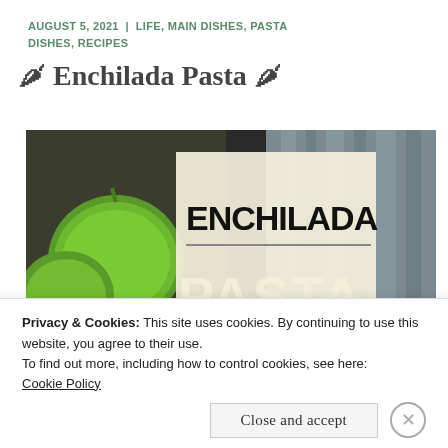AUGUST 5, 2021 | LIFE, MAIN DISHES, PASTA DISHES, RECIPES
🌶 Enchilada Pasta 🌶
[Figure (photo): Food photo showing limes/citrus and a striped cloth with large bold text overlay reading ENCHILADA PASTA on a cream/beige background panel]
Privacy & Cookies: This site uses cookies. By continuing to use this website, you agree to their use.
To find out more, including how to control cookies, see here:
Cookie Policy
Close and accept